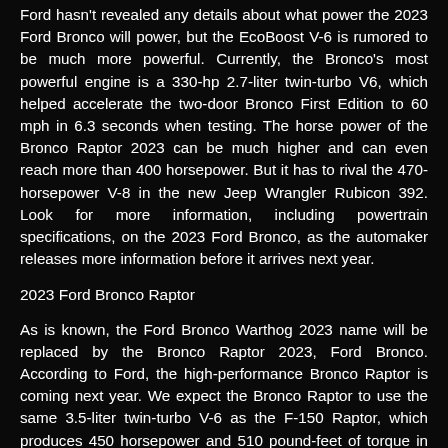Ford hasn't revealed any details about what power the 2023 Ford Bronco will power, but the EcoBoost V-6 is rumored to be much more powerful. Currently, the Bronco's most powerful engine is a 330-hp 2.7-liter twin-turbo V6, which helped accelerate the two-door Bronco First Edition to 60 mph in 6.3 seconds when testing. The horse power of the Bronco Raptor 2023 can be much higher and can even reach more than 400 horsepower. But it has to rival the 470-horsepower V-8 in the new Jeep Wrangler Rubicon 392. Look for more information, including powertrain specifications, on the 2023 Ford Bronco, as the automaker releases more information before it arrives next year.
2023 Ford Bronco Raptor
As is known, the Ford Bronco Warthog 2023 name will be replaced by the Bronco Raptor 2023, Ford Bronco. According to Ford, the high-performance Bronco Raptor is coming next year. We expect the Bronco Raptor to use the same 3.5-liter twin-turbo V-6 as the F-150 Raptor, which produces 450 horsepower and 510 pound-feet of torque in the truck. You'll get a 10-speed automatic transmission as the only option. The most powerful engine in the Bronco is 310 hp 2.7 liters, and a manual transmission is available for the low-powered four-cylinder Turbo engine. The Ford Bronco Raptor 2023 has a towing capacity of 3,500 lbs. Pricing should start higher than the starting price of $62,605 for a loaded first four-door edition, with the F-